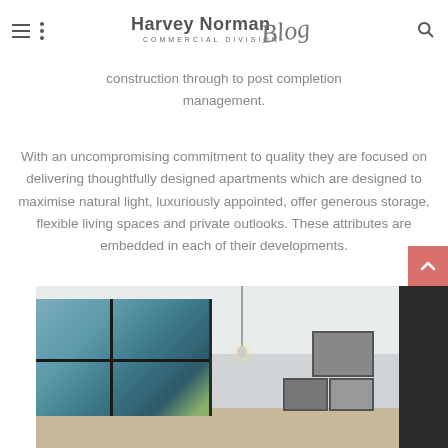Harvey Norman Commercial Division Blog
construction through to post completion management.
With an uncompromising commitment to quality they are focused on delivering thoughtfully designed apartments which are designed to maximise natural light, luxuriously appointed, offer generous storage, flexible living spaces and private outlooks. These attributes are embedded in each of their developments.
[Figure (photo): Interior of a modern luxury apartment showing floor-to-ceiling glass windows with garden views, pendant lighting, and dark cabinetry on the right wall with artwork]